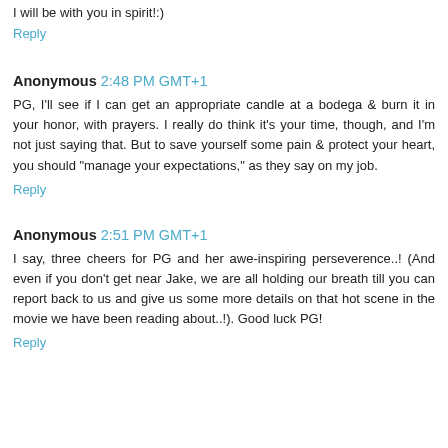I will be with you in spirit!:)
Reply
Anonymous 2:48 PM GMT+1
PG, I'll see if I can get an appropriate candle at a bodega & burn it in your honor, with prayers. I really do think it's your time, though, and I'm not just saying that. But to save yourself some pain & protect your heart, you should "manage your expectations," as they say on my job.
Reply
Anonymous 2:51 PM GMT+1
I say, three cheers for PG and her awe-inspiring perseverence..! (And even if you don't get near Jake, we are all holding our breath till you can report back to us and give us some more details on that hot scene in the movie we have been reading about..!). Good luck PG!
Reply